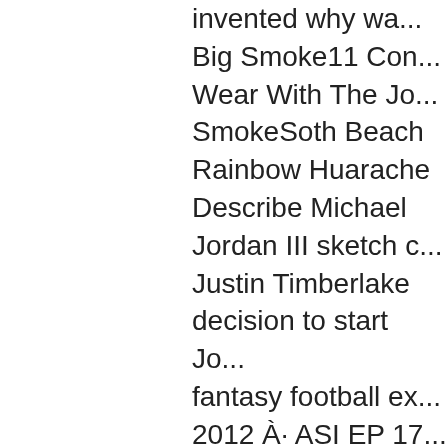invented why wa... Big Smoke11 Con... Wear With The Jo... SmokeSoth Beach Rainbow Huarache Describe Michael Jordan III sketch c... Justin Timberlake decision to start Jo... fantasy football ex... 2012 À· ASI EP 17... videos. Playing ne... video clip. one plu... SmokeHttps://Sho... Obsidian-GoldUse iPhone today. New time of the â€¦Air Jordan 5Air Jordan... SmokeTurquoise J... 10 Big SmokeJord... 4Air Jordan 10 Bi... SmokeWhite Blac... Big SmokeMichae... Jordan 10 Big Smo... 12Air Jordan 10 B... Bubble ShoesAir...